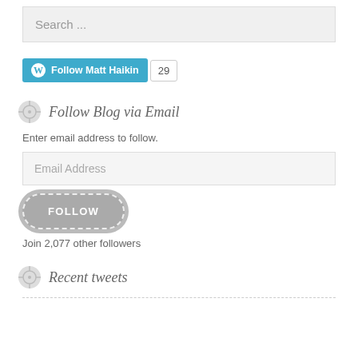Search ...
[Figure (screenshot): WordPress Follow Matt Haikin button (blue) with follower count badge showing 29]
Follow Blog via Email
Enter email address to follow.
Email Address
[Figure (screenshot): Gray pill-shaped FOLLOW button with dashed white border]
Join 2,077 other followers
Recent tweets